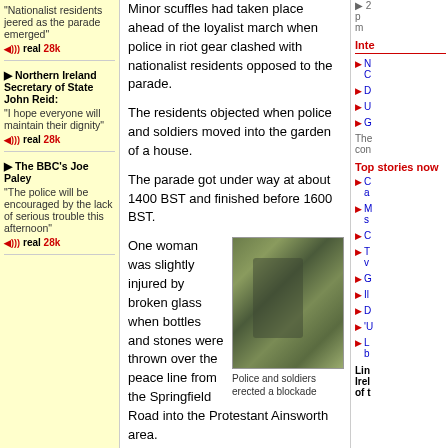"Nationalist residents jeered as the parade emerged"
Northern Ireland Secretary of State John Reid: "I hope everyone will maintain their dignity"
The BBC's Joe Paley: "The police will be encouraged by the lack of serious trouble this afternoon"
Minor scuffles had taken place ahead of the loyalist march when police in riot gear clashed with nationalist residents opposed to the parade.
The residents objected when police and soldiers moved into the garden of a house.
The parade got under way at about 1400 BST and finished before 1600 BST.
One woman was slightly injured by broken glass when bottles and stones were thrown over the peace line from the Springfield Road into the Protestant Ainsworth area.
[Figure (photo): Police and soldiers in camouflage gear standing together, apparently erecting a blockade]
Police and soldiers erected a blockade
The Irish Taoiseach, Bertie Ahern, called for people to remain calm during what he called this difficult period and through the marching season.
Mr Ahern said people should follow the advice of their leaders.
It is hoped he will meet with his UK counterpart, Tony Blair next week to discuss the next stage in moving
Inter
The con
Top stories now
Links footer: Ireland of t